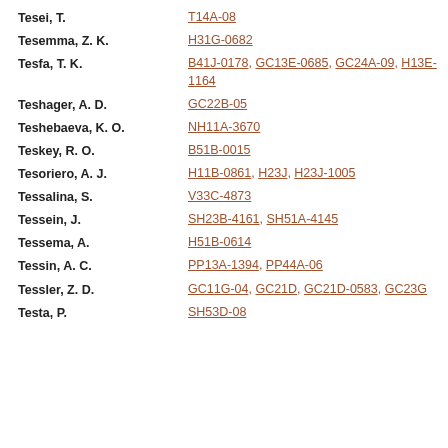Tesei, T. — T14A-08
Tesemma, Z. K. — H31G-0682
Tesfa, T. K. — B41J-0178, GC13E-0685, GC24A-09, H13E-1164
Teshager, A. D. — GC22B-05
Teshebaeva, K. O. — NH11A-3670
Teskey, R. O. — B51B-0015
Tesoriero, A. J. — H11B-0861, H23J, H23J-1005
Tessalina, S. — V33C-4873
Tessein, J. — SH23B-4161, SH51A-4145
Tessema, A. — H51B-0614
Tessin, A. C. — PP13A-1394, PP44A-06
Tessler, Z. D. — GC11G-04, GC21D, GC21D-0583, GC23G
Testa, P. — SH53D-08